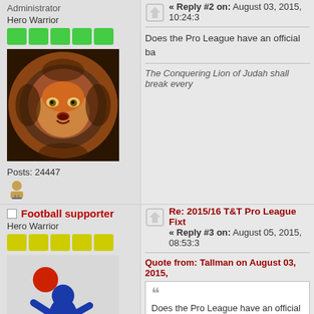« Reply #2 on: August 03, 2015, 10:24:3
Administrator
Hero Warrior
[Figure (photo): Lion avatar photo]
Posts: 24447
[Figure (illustration): User profile icon]
Does the Pro League have an official ba
The Conquering Lion of Judah shall break every
Football supporter
Re: 2015/16 T&T Pro League Fixt
« Reply #3 on: August 05, 2015, 08:53:3
Hero Warrior
[Figure (illustration): Football player avatar]
Posts: 5209
[Figure (illustration): User profile icon]
Quote from: Tallman on August 03, 2015,
Does the Pro League have an official ba
No. Home clubs use their match balls.